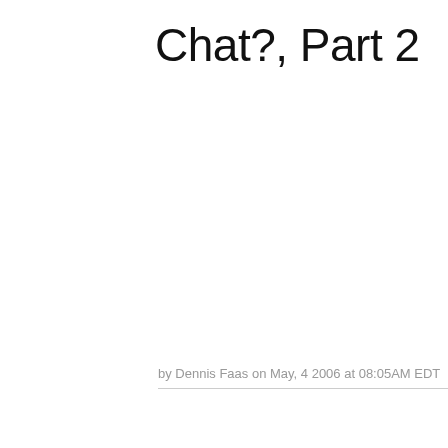Chat?, Part 2
by Dennis Faas on May, 4 2006 at 08:05AM EDT